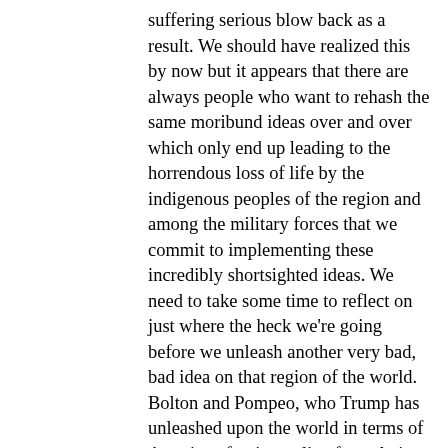suffering serious blow back as a result. We should have realized this by now but it appears that there are always people who want to rehash the same moribund ideas over and over which only end up leading to the horrendous loss of life by the indigenous peoples of the region and among the military forces that we commit to implementing these incredibly shortsighted ideas. We need to take some time to reflect on just where the heck we're going before we unleash another very bad, bad idea on that region of the world. Bolton and Pompeo, who Trump has unleashed upon the world in terms of American foreign policy formulation, are not capable of having the reflective thinking that is absolutely necessary to help us avoid another disaster that will be coming from